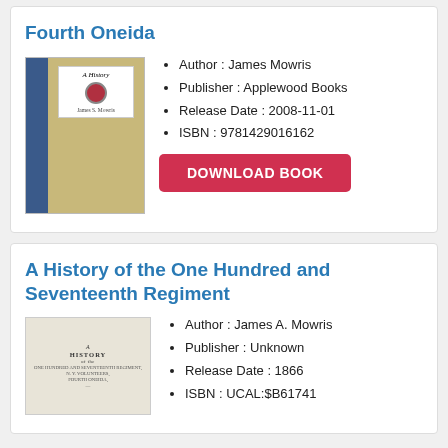Fourth Oneida
[Figure (photo): Book cover of Fourth Oneida by James Mowris — blue spine with gold ornamental cover and white label]
Author : James Mowris
Publisher : Applewood Books
Release Date : 2008-11-01
ISBN : 9781429016162
DOWNLOAD BOOK
A History of the One Hundred and Seventeenth Regiment
[Figure (photo): Title page of A History of the One Hundred and Seventeenth Regiment, N.Y. Volunteers, Fourth Oneida]
Author : James A. Mowris
Publisher : Unknown
Release Date : 1866
ISBN : UCAL:$B61741